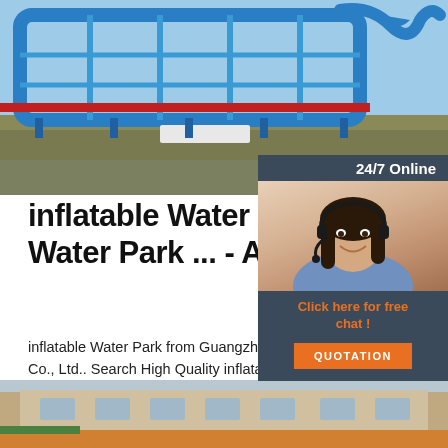[Figure (photo): Aerial view of a large inflatable water park with blue inflatable structures on a flat surface, surrounded by dry vegetation.]
inflatable Water Park, infla Water Park ... - Alibaba.co
inflatable Water Park from Guangzhou Happ Co., Ltd.. Search High Quality inflatable Wat Manufacturing and Exporting supplier on Alib
Get Price
[Figure (photo): Customer service representative woman with headset smiling, beside '24/7 Online' text and 'Click here for free chat!' and QUOTATION button.]
[Figure (photo): Aerial view of a factory building with orange/yellow ground area visible at the bottom of the page.]
[Figure (illustration): TOP button icon — orange triangle with dots above and the word TOP in orange text below.]